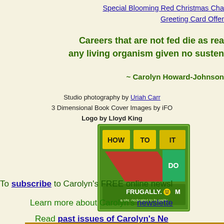Special Blooming Red Christmas Cha... Greeting Card Offer
Careers that are not fed die as rea... any living organism given no susten...
~ Carolyn Howard-Johnson
Studio photography by Uriah Carr
3 Dimensional Book Cover Images by iFO...
Logo by Lloyd King
[Figure (logo): HowToDoItFrugally.com logo - green background with colorful geometric shapes and text]
To subscribe to Carolyn's FREE online newsl...
Learn more about Carolyn's newsletter...
Read past issues of Carolyn's Ne...